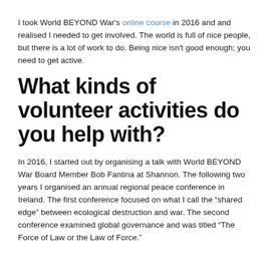I took World BEYOND War's online course in 2016 and and realised I needed to get involved. The world is full of nice people, but there is a lot of work to do. Being nice isn't good enough; you need to get active.
What kinds of volunteer activities do you help with?
In 2016, I started out by organising a talk with World BEYOND War Board Member Bob Fantina at Shannon. The following two years I organised an annual regional peace conference in Ireland. The first conference focused on what I call the “shared edge” between ecological destruction and war. The second conference examined global governance and was titled “The Force of Law or the Law of Force.”